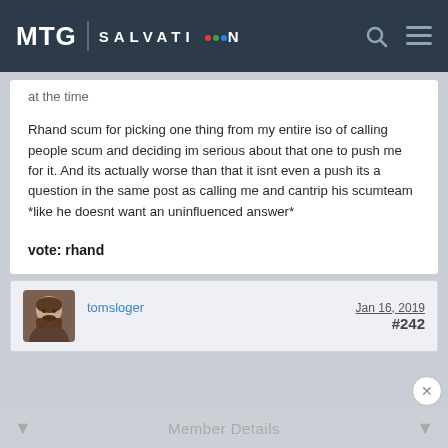MTG | SALVATION
at the time
Rhand scum for picking one thing from my entire iso of calling people scum and deciding im serious about that one to push me for it. And its actually worse than that it isnt even a push its a question in the same post as calling me and cantrip his scumteam *like he doesnt want an uninfluenced answer*
vote: rhand
tomsloger   Jan 16, 2019   #242
Member Details